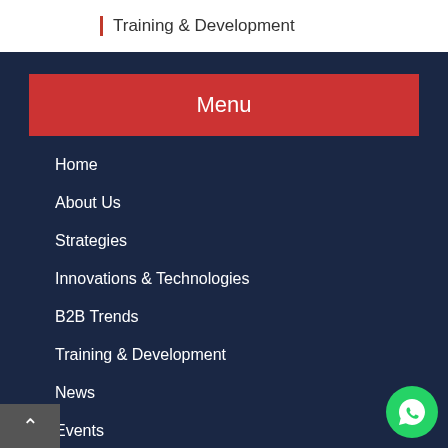Training & Development
Menu
Home
About Us
Strategies
Innovations & Technologies
B2B Trends
Training & Development
News
Events